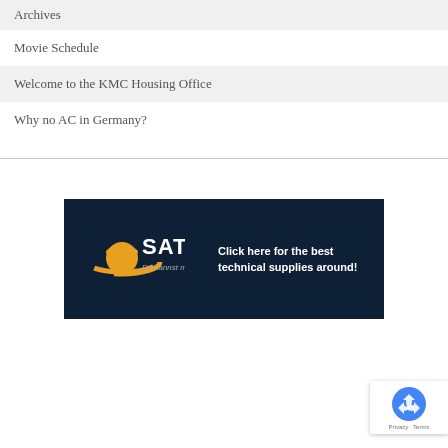Archives
Movie Schedule
Welcome to the KMC Housing Office
Why no AC in Germany?
[Figure (infographic): Saturn store advertisement banner with dark navy background. Shows Saturn logo (orange ring-planet icon with white SATURN text) and tagline 'Du kannst mehr!' with copy 'Click here for the best technical supplies around!']
[Figure (other): reCAPTCHA badge widget with recycling-arrow icon and 'Privacy - Terms' text links]